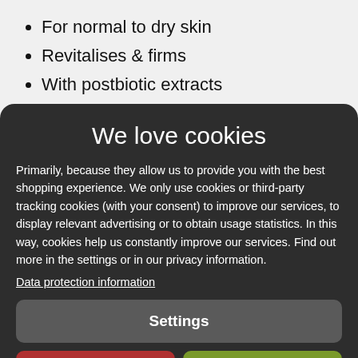For normal to dry skin
Revitalises & firms
With postbiotic extracts
We love cookies
Primarily, because they allow us to provide you with the best shopping experience. We only use cookies or third-party tracking cookies (with your consent) to improve our services, to display relevant advertising or to obtain usage statistics. In this way, cookies help us constantly improve our services. Find out more in the settings or in our privacy information.
Data protection information
Settings
Reject all
Accept all